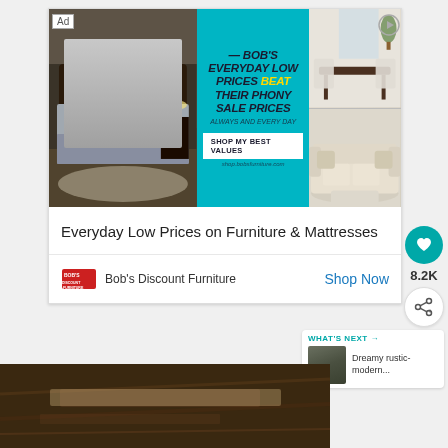[Figure (photo): Bob's Discount Furniture advertisement banner showing bedroom and living room furniture photos with teal background and text 'Bob's Everyday Low Prices Beat Their Phony Sale Prices' with Shop My Best Values button]
Everyday Low Prices on Furniture & Mattresses
[Figure (logo): Bob's Discount Furniture logo (red text on white background)]
Bob's Discount Furniture
Shop Now
8.2K
WHAT'S NEXT → Dreamy rustic-modern...
[Figure (photo): Bottom portion of a rustic wooden surface photo, partially visible]